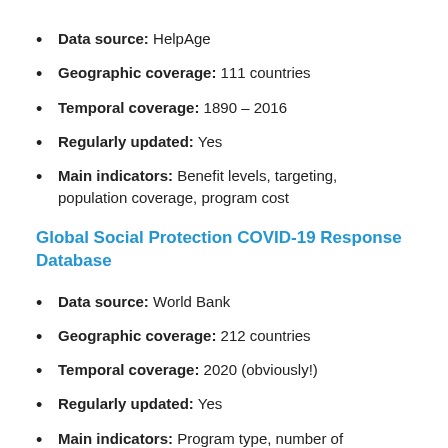Data source: HelpAge
Geographic coverage: 111 countries
Temporal coverage: 1890 – 2016
Regularly updated: Yes
Main indicators: Benefit levels, targeting, population coverage, program cost
Global Social Protection COVID-19 Response Database
Data source: World Bank
Geographic coverage: 212 countries
Temporal coverage: 2020 (obviously!)
Regularly updated: Yes
Main indicators: Program type, number of beneficiaries (planned & actual), program budget, adequacy of benefits (as a percentage of